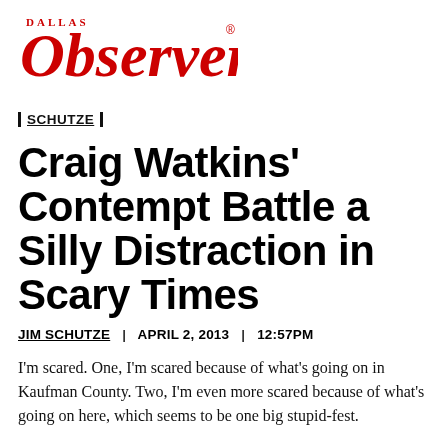[Figure (logo): Dallas Observer logo in red and black serif font]
| SCHUTZE |
Craig Watkins' Contempt Battle a Silly Distraction in Scary Times
JIM SCHUTZE | APRIL 2, 2013 | 12:57PM
I'm scared. One, I'm scared because of what's going on in Kaufman County. Two, I'm even more scared because of what's going on here, which seems to be one big stupid-fest.